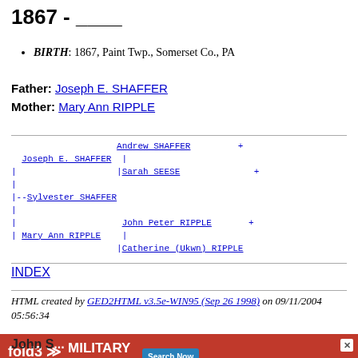1867 - ____
BIRTH: 1867, Paint Twp., Somerset Co., PA
Father: Joseph E. SHAFFER
Mother: Mary Ann RIPPLE
[Figure (other): Genealogy pedigree chart showing ancestors of Sylvester SHAFFER. Joseph E. SHAFFER married, parents Andrew SHAFFER + and Sarah SEESE +. Mary Ann RIPPLE married, parents John Peter RIPPLE + and Catherine (Ukwn) RIPPLE.]
INDEX
HTML created by GED2HTML v3.5e-WIN95 (Sep 26 1998) on 09/11/2004 05:56:34
[Figure (other): Advertisement for fold3 Military Records by Ancestry with Search Now button]